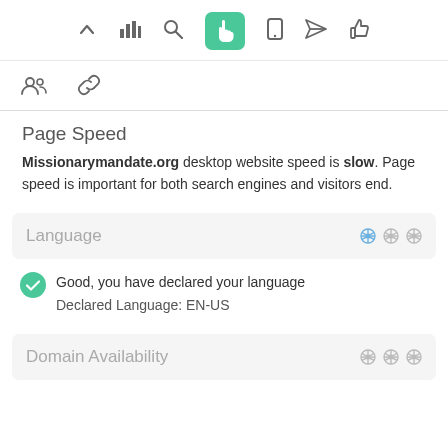[Figure (screenshot): Top navigation toolbar with icons: chevron up, bar chart, search, hand pointer (active/green), mobile, send/arrow, thumbs up]
[Figure (screenshot): Second toolbar row with people/group icon and chain-link icon]
Page Speed
Missionarymandate.org desktop website speed is slow. Page speed is important for both search engines and visitors end.
[Figure (screenshot): Language card section header with gear icons]
Good, you have declared your language
Declared Language: EN-US
[Figure (screenshot): Domain Availability card section header with gear icons]